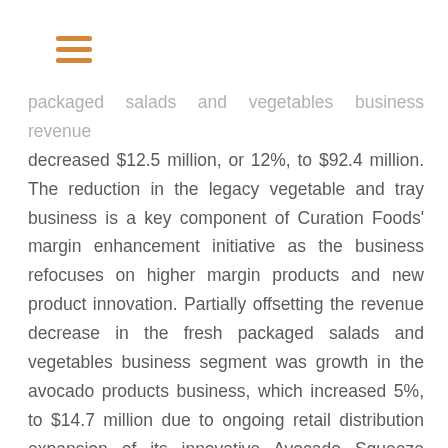[Figure (other): Hamburger menu icon with three orange horizontal bars]
packaged salads and vegetables business revenue decreased $12.5 million, or 12%, to $92.4 million. The reduction in the legacy vegetable and tray business is a key component of Curation Foods' margin enhancement initiative as the business refocuses on higher margin products and new product innovation. Partially offsetting the revenue decrease in the fresh packaged salads and vegetables business segment was growth in the avocado products business, which increased 5%, to $14.7 million due to ongoing retail distribution expansion of its innovative Avocado Squeeze product and growth in the Cabo Fresh brand. Revenue in Technology decreased 33% due to timing.